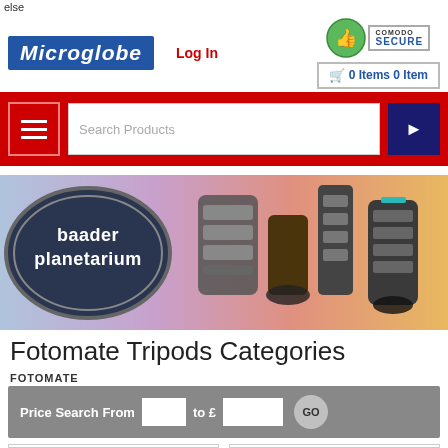else
[Figure (screenshot): Microglobe logo: white italic bold text on blue background]
Log In
[Figure (logo): Comodo Secure badge with thumbs-up icon]
0 Items 0 Item
[Figure (screenshot): Red navigation bar with hamburger menu, search box reading 'Search Products', and blue search button with arrow]
[Figure (photo): Baader Planetarium banner with logo oval and telescope eyepiece products on gradient background]
Fotomate Tripods Categories
FOTOMATE
Price Search From   to £    GO